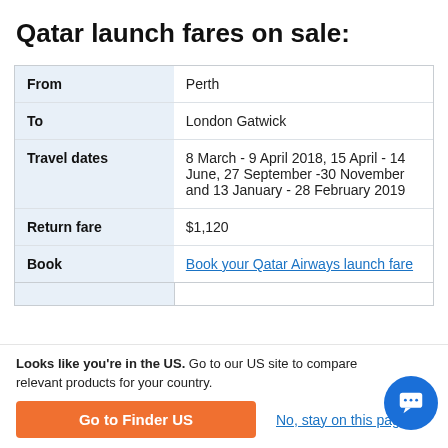Qatar launch fares on sale:
|  |  |
| --- | --- |
| From | Perth |
| To | London Gatwick |
| Travel dates | 8 March - 9 April 2018, 15 April - 14 June, 27 September -30 November and 13 January - 28 February 2019 |
| Return fare | $1,120 |
| Book | Book your Qatar Airways launch fare |
Looks like you're in the US. Go to our US site to compare relevant products for your country.
Go to Finder US
No, stay on this page